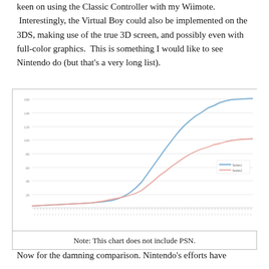keen on using the Classic Controller with my Wiimote. Interestingly, the Virtual Boy could also be implemented on the 3DS, making use of the true 3D screen, and possibly even with full-color graphics. This is something I would like to see Nintendo do (but that's a very long list).
[Figure (continuous-plot): Line chart showing two lines (blue and pink/salmon) rising steeply over time. The blue line rises higher than the pink line. A legend in the upper right shows two series. X-axis has many dense tick labels. Y-axis has gridlines.]
Note: This chart does not include PSN.
Now for the damning comparison. Nintendo's efforts have